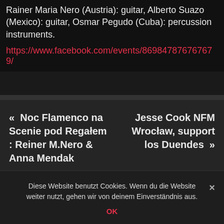Rainer Maria Nero (Austria): guitar, Alberto Suazo (Mexico): guitar, Osmar Pegudo (Cuba): percussion instruments.
https://www.facebook.com/events/869847876767679/
« Noc Flamenco na Scenie pod Regałem : Reiner M.Nero & Anna Mendak
Jesse Cook NFM Wrocław, support los Duendes »
Diese Website benutzt Cookies. Wenn du die Website weiter nutzt, gehen wir von deinem Einverständnis aus.
OK